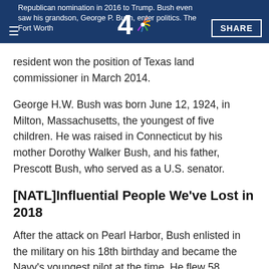Republican nomination in 2016 to Trump. Bush even saw his grandson, George P. Bush, enter politics. The Fort Worth resident won the position of Texas land commissioner in March 2014.
George H.W. Bush was born June 12, 1924, in Milton, Massachusetts, the youngest of five children. He was raised in Connecticut by his mother Dorothy Walker Bush, and his father, Prescott Bush, who served as a U.S. senator.
[NATL]Influential People We've Lost in 2018
After the attack on Pearl Harbor, Bush enlisted in the military on his 18th birthday and became the Navy's youngest pilot at the time. He flew 58 combat missions in World War II before being shot down by the Japanese in 1944. Bush was rescued by a submarine and awarded the Distinguished Flying Cross